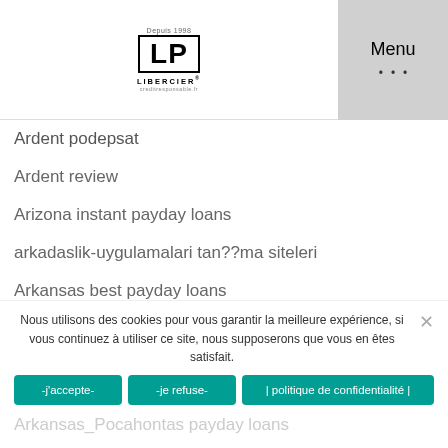LP LIBERCIER — Depuis 1998 | Menu
Ardent podepsat
Ardent review
Arizona instant payday loans
arkadaslik-uygulamalari tan??ma siteleri
Arkansas best payday loans
Arkansas payday loans online no credit check instant approval
Arkansas payday loans online same day
Arkansas_Pocahontas payday loans
Nous utilisons des cookies pour vous garantir la meilleure expérience, si vous continuez à utiliser ce site, nous supposerons que vous en êtes satisfait.
-j'accepte-
-je refuse-
| politique de confidentialité |